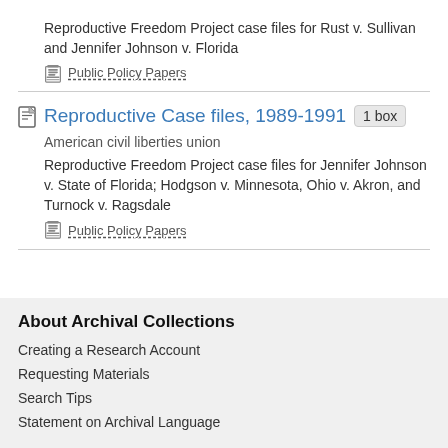Reproductive Freedom Project case files for Rust v. Sullivan and Jennifer Johnson v. Florida
Public Policy Papers
Reproductive Case files, 1989-1991  1 box
American civil liberties union
Reproductive Freedom Project case files for Jennifer Johnson v. State of Florida; Hodgson v. Minnesota, Ohio v. Akron, and Turnock v. Ragsdale
Public Policy Papers
About Archival Collections
Creating a Research Account
Requesting Materials
Search Tips
Statement on Archival Language